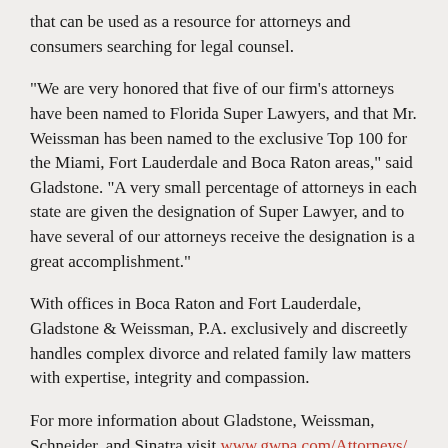that can be used as a resource for attorneys and consumers searching for legal counsel.
“We are very honored that five of our firm’s attorneys have been named to Florida Super Lawyers, and that Mr. Weissman has been named to the exclusive Top 100 for the Miami, Fort Lauderdale and Boca Raton areas,” said Gladstone. “A very small percentage of attorneys in each state are given the designation of Super Lawyer, and to have several of our attorneys receive the designation is a great accomplishment.”
With offices in Boca Raton and Fort Lauderdale, Gladstone & Weissman, P.A. exclusively and discreetly handles complex divorce and related family law matters with expertise, integrity and compassion.
For more information about Gladstone, Weissman, Schneider, and Sinatra visit www.gwpa.com/Attorneys/.
About Gladstone & Weissman, P.A.
Gladstone & Weissman exclusively and discreetly handles